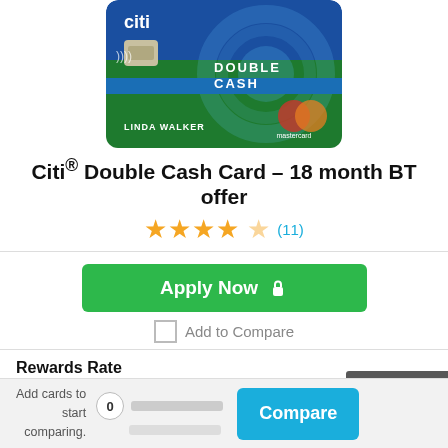[Figure (photo): Citi Double Cash credit card image showing blue and green card with LINDA WALKER cardholder name and Mastercard logo]
Citi® Double Cash Card – 18 month BT offer
★★★★☆ (11)
Apply Now 🔒
Add to Compare
Rewards Rate
Earn 2% on every purchase with unlimited 1% cash back when you buy, plus an additional 1% as you pay for those purchases.
Back to top
Add cards to start comparing.
0
Compare